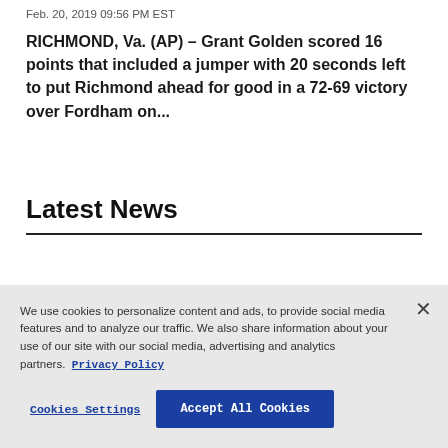Feb. 20, 2019 09:56 PM EST
RICHMOND, Va. (AP) – Grant Golden scored 16 points that included a jumper with 20 seconds left to put Richmond ahead for good in a 72-69 victory over Fordham on...
Latest News
We use cookies to personalize content and ads, to provide social media features and to analyze our traffic. We also share information about your use of our site with our social media, advertising and analytics partners. Privacy Policy
Cookies Settings | Accept All Cookies